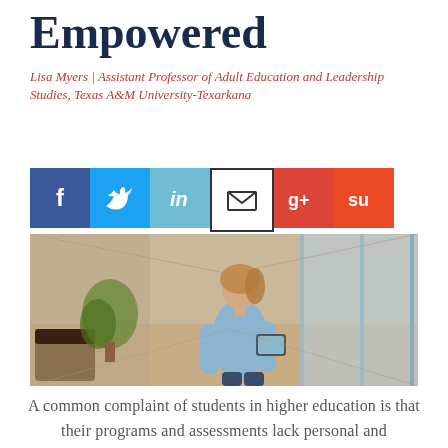Empowered
Lisa Myers | Assistant Professor of Adult Education and Leadership Studies, Texas A&M University-Texarkana
[Figure (infographic): Row of six social media sharing icons: Facebook (dark blue), Twitter (light blue), LinkedIn (light blue), Email (white with envelope), Google+ (red), StumbleUpon (orange-red)]
[Figure (photo): Woman in a light blue shirt walking through a modern office hallway holding a tablet, with plants and glass partitions visible in the background.]
A common complaint of students in higher education is that their programs and assessments lack personal and